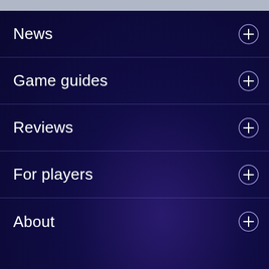News
Game guides
Reviews
For players
About